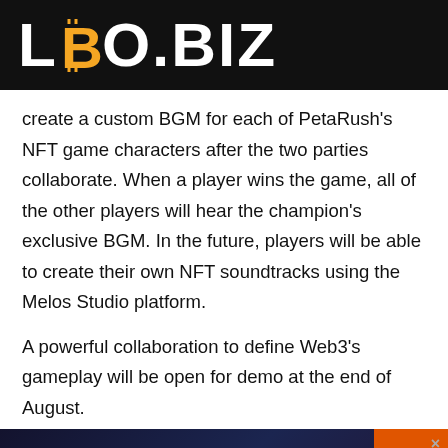LBO.BIZ
create a custom BGM for each of PetaRush's NFT game characters after the two parties collaborate. When a player wins the game, all of the other players will hear the champion's exclusive BGM. In the future, players will be able to create their own NFT soundtracks using the Melos Studio platform.
A powerful collaboration to define Web3's gameplay will be open for demo at the end of August.
[Figure (infographic): Advertisement banner reading 'SUBMIT YOUR NEWS TO 50 CRYPTO WEBSITES' with cyan/yellow text on dark blue background, an orange 'JO' button on the right, and an X close button.]
attendees each took out their mobile phones and